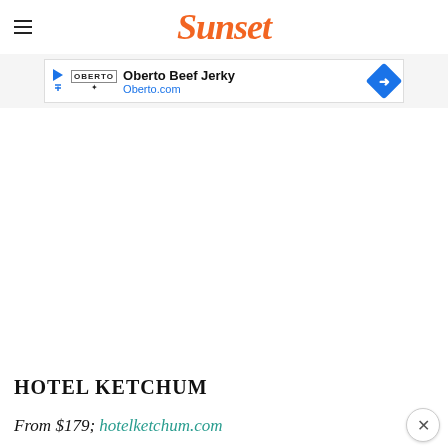Sunset
[Figure (other): Advertisement banner for Oberto Beef Jerky with logo, text 'Oberto Beef Jerky', URL 'Oberto.com', and blue navigation diamond icon]
[Figure (photo): Large photo area (appears white/blank in this view) for Hotel Ketchum]
HOTEL KETCHUM
From $179; hotelketchum.com